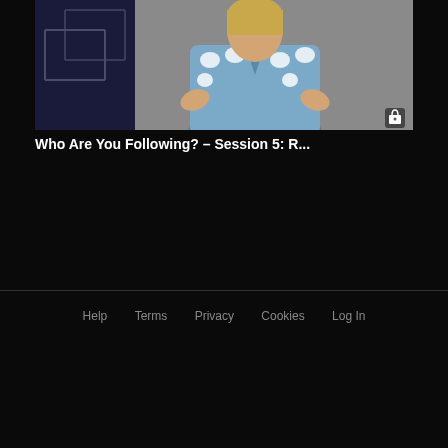[Figure (screenshot): Video thumbnail showing a woman in a blue cloud-patterned cardigan sweater with hands raised, standing in front of a dark background with geometric shapes. A lock icon appears in the bottom right corner of the thumbnail.]
Who Are You Following? – Session 5: R...
Help   Terms   Privacy   Cookies   Log In